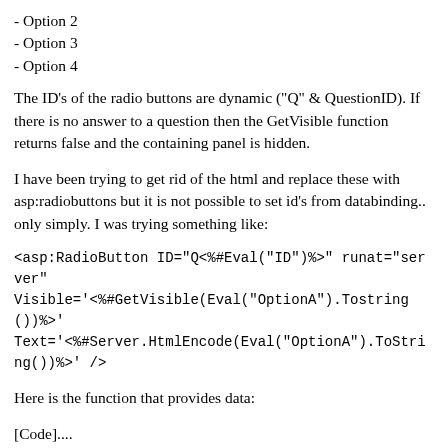- Option 2
- Option 3
- Option 4
The ID's of the radio buttons are dynamic ("Q" & QuestionID). If there is no answer to a question then the GetVisible function returns false and the containing panel is hidden.
I have been trying to get rid of the html and replace these with asp:radiobuttons but it is not possible to set id's from databinding.. only simply. I was trying something like:
<asp:RadioButton ID="Q<%#Eval("ID")%>" runat="server" Visible='<%#GetVisible(Eval("OptionA").Tostring())%>' Text='<%#Server.HtmlEncode(Eval("OptionA").ToString())%>' />
Here is the function that provides data:
[Code]....
but I'm finding it impossible to work with the html controls, i.e get their .text value from codebehind, or adding events!
better way to replace the html with suitable asp.net web controls or from the codebehind and output it. Or point me in the right